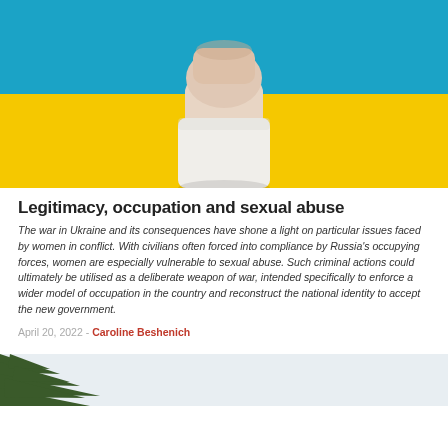[Figure (photo): A hand raised in a fist against a background of the Ukrainian flag (blue top half, yellow bottom half). The person wears a white sleeve.]
Legitimacy, occupation and sexual abuse
The war in Ukraine and its consequences have shone a light on particular issues faced by women in conflict. With civilians often forced into compliance by Russia's occupying forces, women are especially vulnerable to sexual abuse. Such criminal actions could ultimately be utilised as a deliberate weapon of war, intended specifically to enforce a wider model of occupation in the country and reconstruct the national identity to accept the new government.
April 20, 2022 - Caroline Beshenich
[Figure (photo): Partial view of pine or fir tree branches against a light grey/white sky, cropped at the bottom of the page.]